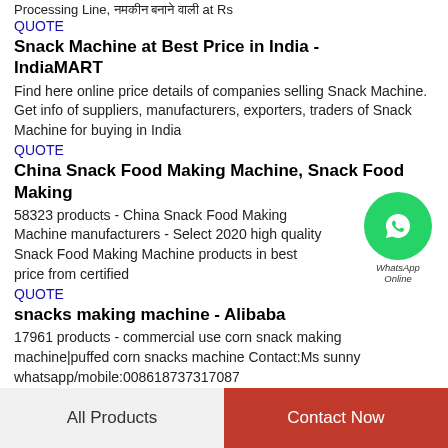Processing Line, [Hindi text] at Rs
QUOTE
Snack Machine at Best Price in India - IndiaMART
Find here online price details of companies selling Snack Machine. Get info of suppliers, manufacturers, exporters, traders of Snack Machine for buying in India
QUOTE
China Snack Food Making Machine, Snack Food Making
58323 products - China Snack Food Making Machine manufacturers - Select 2020 high quality Snack Food Making Machine products in best price from certified
[Figure (logo): WhatsApp Online badge - green circle with phone icon, text WhatsApp Online]
QUOTE
snacks making machine - Alibaba
17961 products - commercial use corn snack making machine|puffed corn snacks machine Contact:Ms sunny whatsapp/mobile:008618737317087
QUOTE
All Products
Contact Now